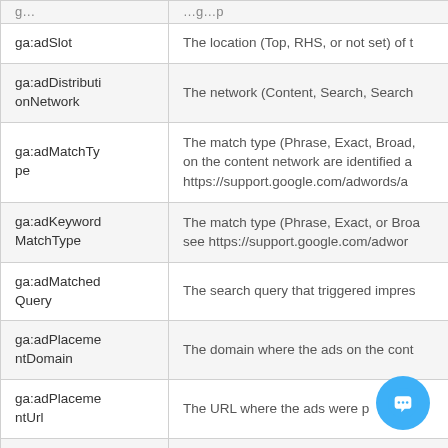| (name) | (description) |
| --- | --- |
| ga:adSlot | The location (Top, RHS, or not set) of t |
| ga:adDistributionNetwork | The network (Content, Search, Search |
| ga:adMatchType | The match type (Phrase, Exact, Broad, on the content network are identified a https://support.google.com/adwords/a |
| ga:adKeywordMatchType | The match type (Phrase, Exact, or Broa see https://support.google.com/adwor |
| ga:adMatchedQuery | The search query that triggered impres |
| ga:adPlacementDomain | The domain where the ads on the cont |
| ga:adPlacementUrl | The URL where the ads were p |
| ga:adFormat | The AdWords ad format (Text, Image, F |